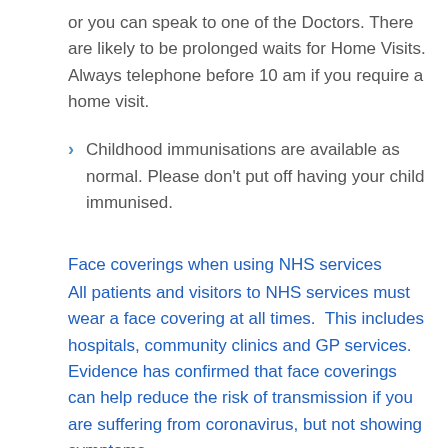or you can speak to one of the Doctors. There are likely to be prolonged waits for Home Visits. Always telephone before 10 am if you require a home visit.
Childhood immunisations are available as normal. Please don't put off having your child immunised.
Face coverings when using NHS services
All patients and visitors to NHS services must wear a face covering at all times.  This includes hospitals, community clinics and GP services.  Evidence has confirmed that face coverings can help reduce the risk of transmission if you are suffering from coronavirus, but not showing symptoms.
The government has set out advice for people on